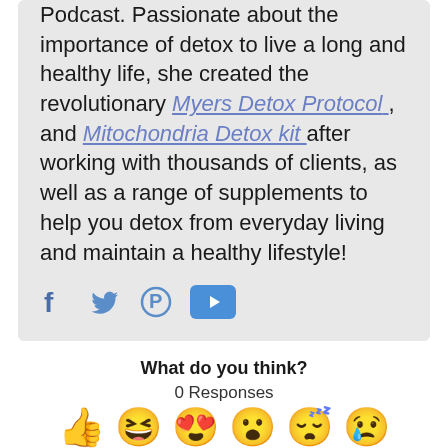Podcast. Passionate about the importance of detox to live a long and healthy life, she created the revolutionary Myers Detox Protocol , and Mitochondria Detox kit after working with thousands of clients, as well as a range of supplements to help you detox from everyday living and maintain a healthy lifestyle!
[Figure (other): Social media icons: Facebook, Twitter, Pinterest, YouTube]
What do you think?
0 Responses
[Figure (other): Row of emoji reaction faces: thumbs up, laughing, heart eyes, surprised, sleepy/skeptical, sad/crying]